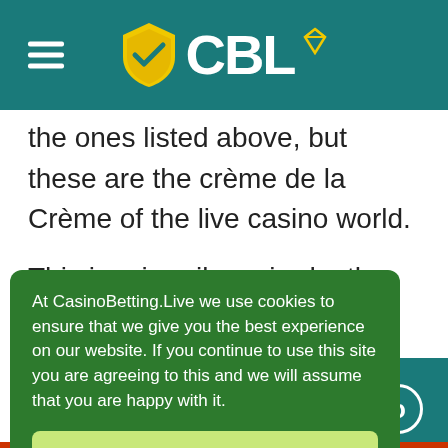CBL
the ones listed above, but these are the crème de la Crème of the live casino world.
This is primarily an in-depth test of live casinos, we have identified the best live casino sites in India. But that's not it. We offer much more. This is also a guide for casino players who want to get started with live casino in India. We cover the
At CasinoBetting.Live we use cookies to ensure that we give you the best experience on our website. If you continue to use this site you are agreeing to this and we will assume that you are happy with it.
OK